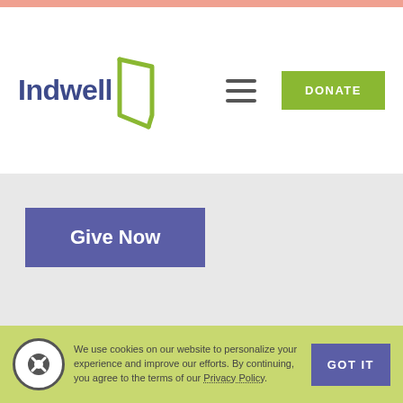[Figure (logo): Indwell logo with stylized door icon in lime green and text in dark blue/purple]
[Figure (other): Hamburger menu icon (three horizontal lines)]
[Figure (other): DONATE button in lime green]
[Figure (other): Give Now button in purple/indigo]
GET OUR EMAILS
We use cookies on our website to personalize your experience and improve our efforts. By continuing, you agree to the terms of our Privacy Policy.
[Figure (other): GOT IT button in purple/indigo on cookie banner]